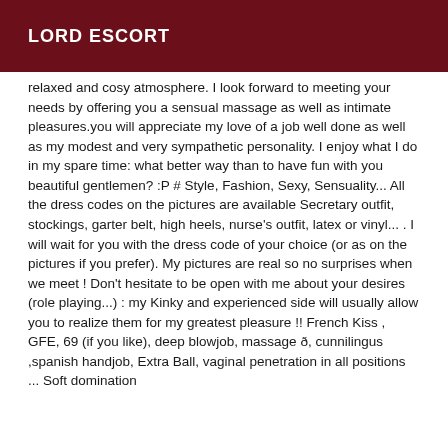LORD ESCORT
relaxed and cosy atmosphere. I look forward to meeting your needs by offering you a sensual massage as well as intimate pleasures.you will appreciate my love of a job well done as well as my modest and very sympathetic personality. I enjoy what I do in my spare time: what better way than to have fun with you beautiful gentlemen? :P # Style, Fashion, Sexy, Sensuality... All the dress codes on the pictures are available Secretary outfit, stockings, garter belt, high heels, nurse's outfit, latex or vinyl... . I will wait for you with the dress code of your choice (or as on the pictures if you prefer). My pictures are real so no surprises when we meet ! Don't hesitate to be open with me about your desires (role playing...) : my Kinky and experienced side will usually allow you to realize them for my greatest pleasure !! French Kiss , GFE, 69 (if you like), deep blowjob, massage ð, cunnilingus ,spanish handjob, Extra Ball, vaginal penetration in all positions ... Soft domination